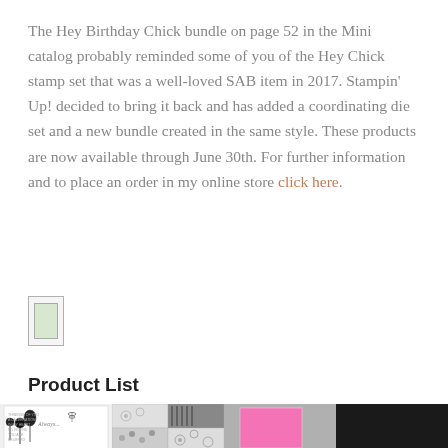The Hey Birthday Chick bundle on page 52 in the Mini catalog probably reminded some of you of the Hey Chick stamp set that was a well-loved SAB item in 2017. Stampin' Up! decided to bring it back and has added a coordinating die set and a new bundle created in the same style. These products are now available through June 30th. For further information and to place an order in my online store click here.
[Figure (photo): Small thumbnail image placeholder (green/grey rectangle with border)]
Product List
[Figure (photo): Black and white illustrated stamp set card showing plants and handwritten text 'Always...']
[Figure (photo): Black and white patterned paper with floral and stripe patterns]
[Figure (photo): Pink cardstock on grey background]
[Figure (photo): Black cardstock or ink pad]